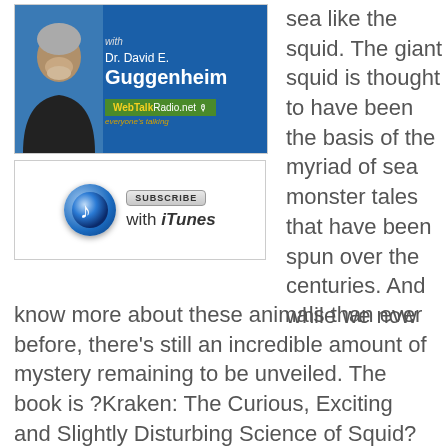[Figure (photo): Radio show banner image with Dr. David E. Guggenheim and WebTalkRadio.net branding on blue background]
[Figure (logo): Subscribe with iTunes button featuring iTunes music note icon and subscribe badge]
sea like the squid. The giant squid is thought to have been the basis of the myriad of sea monster tales that have been spun over the centuries. And while we now know more about these animals than ever before, there's still an incredible amount of mystery remaining to be unveiled. The book is ?Kraken: The Curious, Exciting and Slightly Disturbing Science of Squid? and its author and our guest today, Wendy Williams, award-winning writer and journalist. Also: First of a two-part look at a newly-issued report by